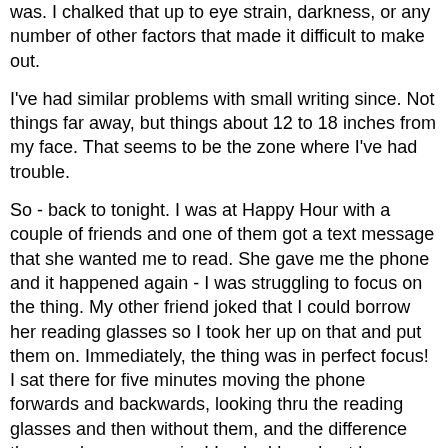was.  I chalked that up to eye strain, darkness, or any number of other factors that made it difficult to make out.
I've had similar problems with small writing since.  Not things far away, but things about 12 to 18 inches from my face.  That seems to be the zone where I've had trouble.
So - back to tonight.  I was at Happy Hour with a couple of friends and one of them got a text message that she wanted me to read.  She gave me the phone and it happened again - I was struggling to focus on the thing.  My other friend joked that I could borrow her reading glasses so I took her up on that and put them on.  Immediately, the thing was in perfect focus!  I sat there for five minutes moving the phone forwards and backwards, looking thru the reading glasses and then without them, and the difference they made was amazing!  I asked her about her prescription and she said that she bought the glasses for less than $10 at the drugstore - they were basic everyday reading glasses.  I'm going to get myself a pair and investigate this further...
It's tough getting old.   :)
On another topic, you may have read previous posts about the movie "Transamerica".  It stars Felicity Huffman